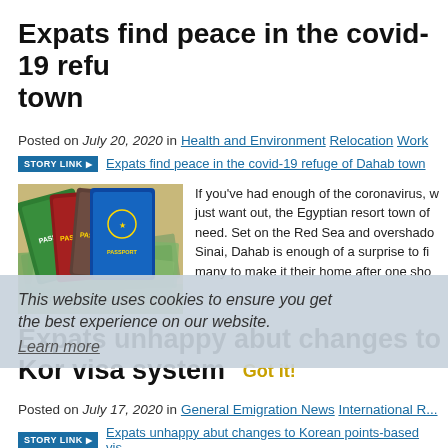Expats find peace in the covid-19 refu... town
Posted on July 20, 2020 in Health and Environment Relocation Work...
STORY LINK ▶ Expats find peace in the covid-19 refuge of Dahab town
[Figure (photo): Multiple passports (green, red, blue) fanned over US dollar bills]
If you've had enough of the coronavirus, w... just want out, the Egyptian resort town of... need. Set on the Red Sea and overshado... Sinai, Dahab is enough of a surprise to fi... many to make it their home after one sho...
This website uses cookies to ensure you get the best experience on our website.
Learn more
Expats unhappy abut changes to Kor... visa system
Got it!
Posted on July 17, 2020 in General Emigration News International R...
STORY LINK ▶ Expats unhappy abut changes to Korean points-based vis...